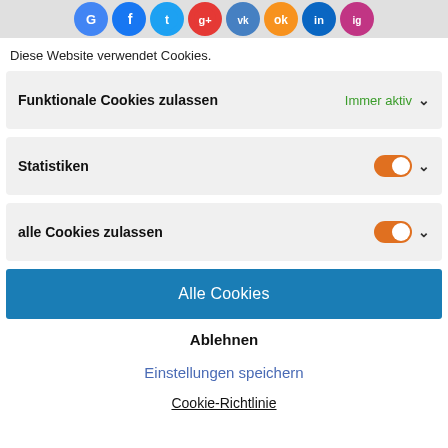[Figure (illustration): Row of social media icons (Google, Facebook, Twitter, Google+, VK, Odnoklassniki, LinkedIn, Instagram) on a light gray background]
Diese Website verwendet Cookies.
Funktionale Cookies zulassen    Immer aktiv ˅
Statistiken    [toggle on] ˅
alle Cookies zulassen    [toggle on] ˅
Alle Cookies
Ablehnen
Einstellungen speichern
Cookie-Richtlinie